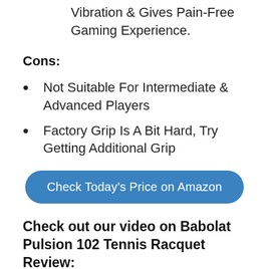Vibration & Gives Pain-Free Gaming Experience.
Cons:
Not Suitable For Intermediate & Advanced Players
Factory Grip Is A Bit Hard, Try Getting Additional Grip
Check Today's Price on Amazon
Check out our video on Babolat Pulsion 102 Tennis Racquet Review: